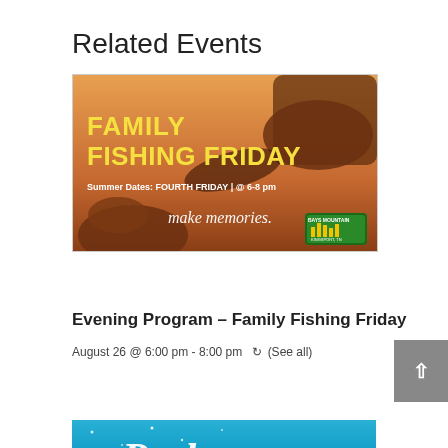Related Events
[Figure (photo): Family Fishing Friday promotional banner with warm orange sunset background showing hands holding a fish, with text 'FAMILY FISHING FRIDAY', 'Summer Dates: FOURTH FRIDAY | @ 6-8 pm', and 'make memories.' with a nature/outdoors logo in the corner.]
Evening Program – Family Fishing Friday
August 26 @ 6:00 pm - 8:00 pm  (See all)
[Figure (photo): Partial view of a blue sky/stars themed banner with white cursive text starting with 'Park']